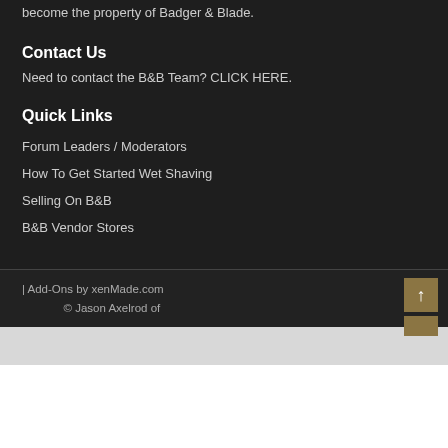become the property of Badger & Blade.
Contact Us
Need to contact the B&B Team? CLICK HERE.
Quick Links
Forum Leaders / Moderators
How To Get Started Wet Shaving
Selling On B&B
B&B Vendor Stores
| Add-Ons by xenMade.com
© Jason Axelrod of